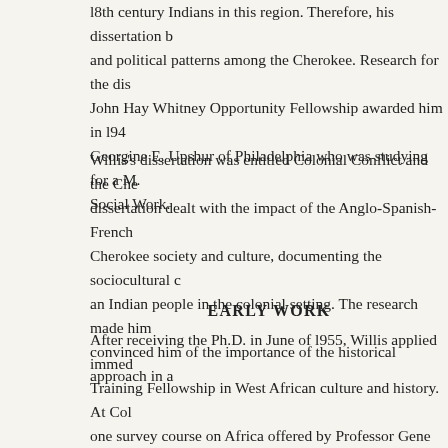18th century Indians in this region. Therefore, his dissertation be and political patterns among the Cherokee. Research for the dis John Hay Whitney Opportunity Fellowship awarded him in l949 Georgine E. Upshur of Philadelphia who was studying for a M.S Social Work.
Willis's dissertation was entitled Colonial Conflict and the Cher dissertation dealt with the impact of the Anglo-Spanish-French Cherokee society and culture, documenting the sociocultural ch an Indian people in the colonial setting. The research made him convinced him of the importance of the historical approach in a
EARLY WORK
After receiving the Ph.D. in June of l955, Willis applied immed Training Fellowship in West African culture and history. At Col one survey course on Africa offered by Professor Gene Weltfish academic year beginning in Sept of l956 studying Africa at som Africa for field work. He wrote to Melville Herskovits in Nover at Northwestern. Herskovits responded by return mail welcomin